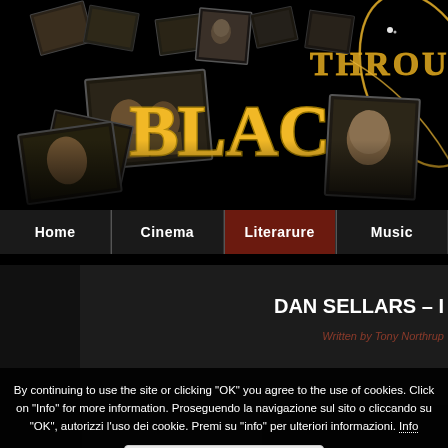[Figure (screenshot): Website header banner with dark background, scattered film photos, and glowing gold text reading 'Through Black' (partially visible). Decorative orbit/ring graphic in gold on right side.]
Home  Cinema  Literarure  Music
DAN SELLARS – I...
Written by Tony Northrup
By continuing to use the site or clicking "OK" you agree to the use of cookies. Click on "Info" for more information. Proseguendo la navigazione sul sito o cliccando su "OK", autorizzi l'uso dei cookie. Premi su "info" per ulteriori informazioni. Info
OK
[Figure (screenshot): Bottom strip showing partial black and white photograph of a person.]